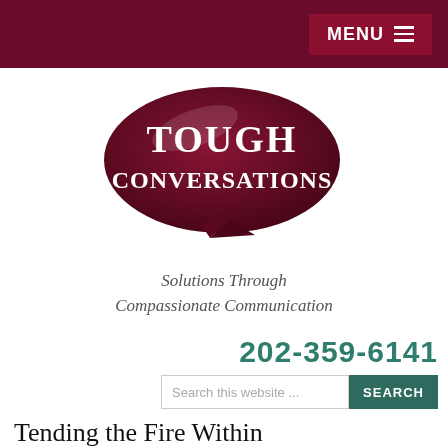MENU
[Figure (logo): Tough Conversations logo: dark red speech bubble with white serif text reading TOUGH CONVERSATIONS]
Solutions Through Compassionate Communication
202-359-6141
Search this website ...
Tending the Fire Within